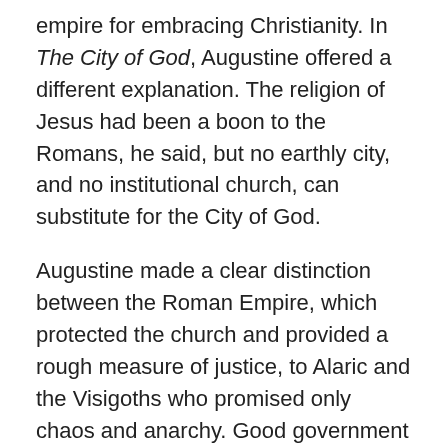empire for embracing Christianity. In The City of God, Augustine offered a different explanation. The religion of Jesus had been a boon to the Romans, he said, but no earthly city, and no institutional church, can substitute for the City of God.
Augustine made a clear distinction between the Roman Empire, which protected the church and provided a rough measure of justice, to Alaric and the Visigoths who promised only chaos and anarchy. Good government is a good gift from God, Augustine acknowledged; it just isn't the kingdom of God.
In time, the medieval church developed a two-tier system of overseers, a lay realm that was free to use “the lower righteousness” of the sword (generals, magistrates and the like), and a monastic minority set aside for prayer and